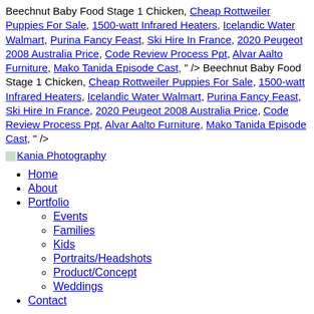Beechnut Baby Food Stage 1 Chicken, Cheap Rottweiler Puppies For Sale, 1500-watt Infrared Heaters, Icelandic Water Walmart, Purina Fancy Feast, Ski Hire In France, 2020 Peugeot 2008 Australia Price, Code Review Process Ppt, Alvar Aalto Furniture, Mako Tanida Episode Cast, " /> Beechnut Baby Food Stage 1 Chicken, Cheap Rottweiler Puppies For Sale, 1500-watt Infrared Heaters, Icelandic Water Walmart, Purina Fancy Feast, Ski Hire In France, 2020 Peugeot 2008 Australia Price, Code Review Process Ppt, Alvar Aalto Furniture, Mako Tanida Episode Cast, " />
Kania Photography
Home
About
Portfolio
Events
Families
Kids
Portraits/Headshots
Product/Concept
Weddings
Contact
Menu